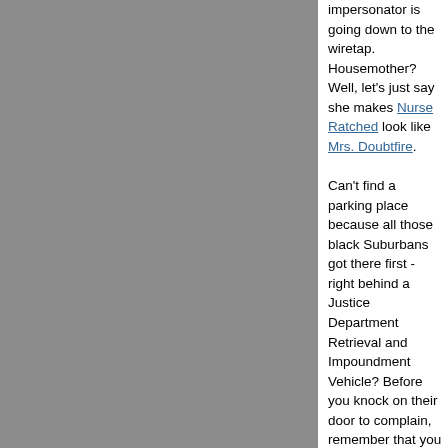[Figure (photo): Gray rectangle occupying the left approximately two-thirds of the page, representing an image area with a solid gray background.]
impersonator is going down to the wiretap. Housemother? Well, let's just say she makes Nurse Ratched look like Mrs. Doubtfire.

Can't find a parking place because all those black Suburbans got there first - right behind a Justice Department Retrieval and Impoundment Vehicle? Before you knock on their door to complain, remember that you have the right to remain silent.